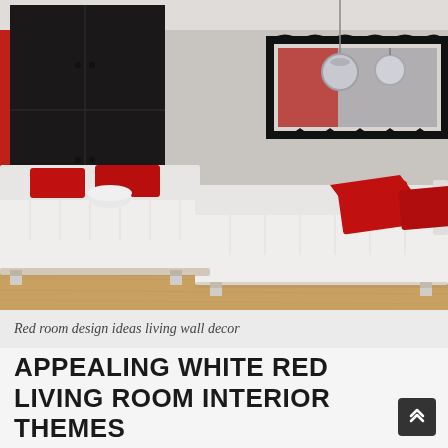[Figure (photo): Modern living room interior with white L-shaped tufted sofa, red accent pillows, black wall-mounted cabinets on a red accent wall, decorative mirror with black and white patterned frame, pendant silver lamp, and light wood flooring.]
Red room design ideas living wall decor
APPEALING WHITE RED LIVING ROOM INTERIOR THEMES